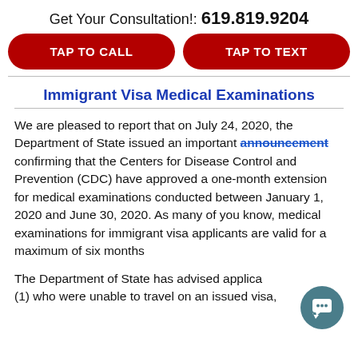Get Your Consultation!: 619.819.9204
TAP TO CALL
TAP TO TEXT
Immigrant Visa Medical Examinations
We are pleased to report that on July 24, 2020, the Department of State issued an important announcement confirming that the Centers for Disease Control and Prevention (CDC) have approved a one-month extension for medical examinations conducted between January 1, 2020 and June 30, 2020. As many of you know, medical examinations for immigrant visa applicants are valid for a maximum of six months
The Department of State has advised applica... (1) who were unable to travel on an issued visa,